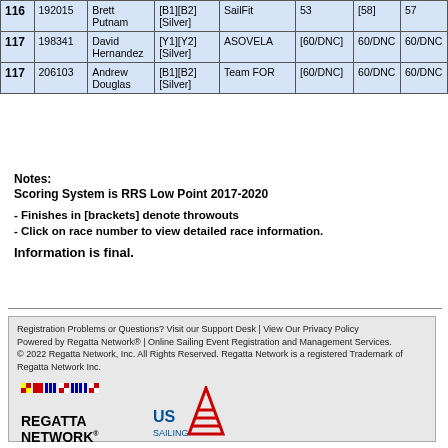|  | 192015 | Brett Putnam | [B1][B2][Silver] | SailFit | 53 | [58] | 57 |
| --- | --- | --- | --- | --- | --- | --- | --- |
| 116 | 192015 | Brett Putnam | [B1][B2][Silver] | SailFit | 53 | [58] | 57 |
| 117 | 198341 | David Hernandez | [Y1][Y2][Silver] | ASOVELA | [60/DNC] | 60/DNC | 60/DNC |
| 117 | 206103 | Andrew Douglas | [B1][B2][Silver] | Team FOR | [60/DNC] | 60/DNC | 60/DNC |
Notes:
Scoring System is RRS Low Point 2017-2020

- Finishes in [brackets] denote throwouts
- Click on race number to view detailed race information.

Information is final.
Registration Problems or Questions? Visit our Support Desk | View Our Privacy Policy
Powered by Regatta Network® | Online Sailing Event Registration and Management Services.
© 2022 Regatta Network, Inc. All Rights Reserved. Regatta Network is a registered Trademark of Regatta Network Inc.